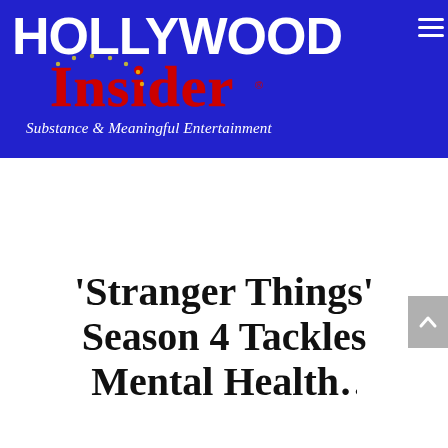[Figure (logo): Hollywood Insider logo on blue background with tagline 'Substance & Meaningful Entertainment']
'Stranger Things' Season 4 Tackles Mental Health